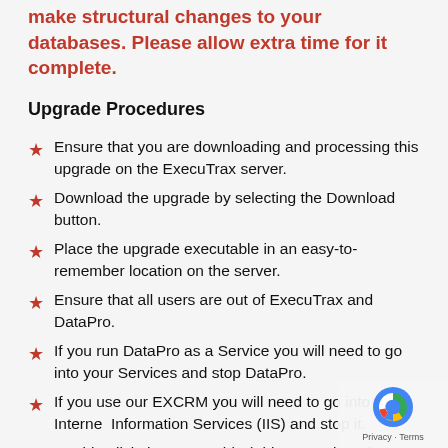make structural changes to your databases. Please allow extra time for it complete.
Upgrade Procedures
Ensure that you are downloading and processing this upgrade on the ExecuTrax server.
Download the upgrade by selecting the Download button.
Place the upgrade executable in an easy-to-remember location on the server.
Ensure that all users are out of ExecuTrax and DataPro.
If you run DataPro as a Service you will need to go into your Services and stop DataPro.
If you use our EXCRM you will need to go into Internet Information Services (IIS) and stop it.
Double-click the executable (This may take a few seconds